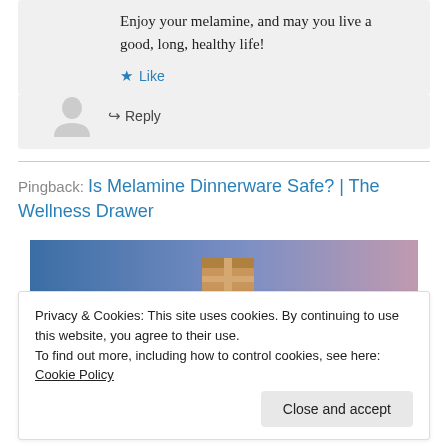Enjoy your melamine, and may you live a good, long, healthy life!
★ Like
↳ Reply
Pingback: Is Melamine Dinnerware Safe? | The Wellness Drawer
[Figure (photo): Thumbnail image with blue-to-purple gradient background and a small brown box/package in the center]
Privacy & Cookies: This site uses cookies. By continuing to use this website, you agree to their use.
To find out more, including how to control cookies, see here: Cookie Policy
Close and accept